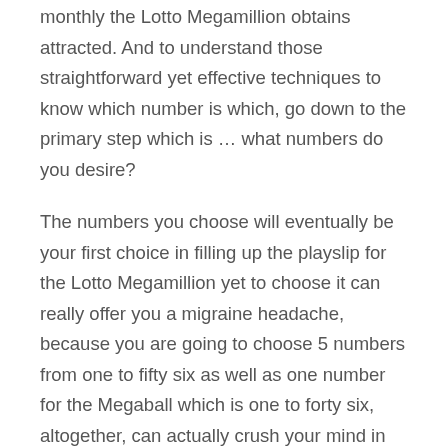monthly the Lotto Megamillion obtains attracted. And to understand those straightforward yet effective techniques to know which number is which, go down to the primary step which is … what numbers do you desire?
The numbers you choose will eventually be your first choice in filling up the playslip for the Lotto Megamillion yet to choose it can really offer you a migraine headache, because you are going to choose 5 numbers from one to fifty six as well as one number for the Megaball which is one to forty six, altogether, can actually crush your mind in picking. Nevertheless, to get pass this; you need to ready the numbers you such as on a sheet of paper, whether it will certainly be one or 5 mix, which is beneficial if you can not memorize all the numbers in your head. After that, inspect the number you carried recently or month's draw and see if the number you had are on the winning combination … if not, don't fret for there are lotto draws in the past two or three months or so and you might want to get enough info to make sure the numbers you